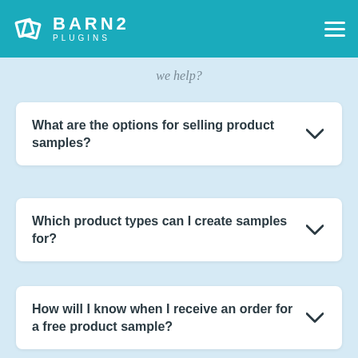BARN2 PLUGINS
we help?
What are the options for selling product samples?
Which product types can I create samples for?
How will I know when I receive an order for a free product sample?